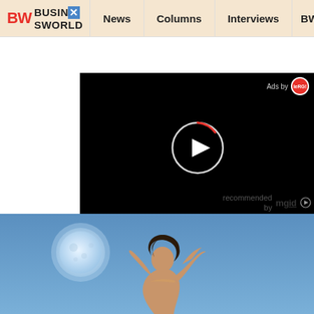BW BUSINESSWORLD | News | Columns | Interviews | BW
[Figure (screenshot): Video player with black background, circular play button (white triangle inside circle outline with red arc segment), 'Ads by' label with red circular badge in top right corner]
recommended by mgid
[Figure (photo): Photo of a woman from behind with hands raised to her hair, large full moon visible in blue sky background]